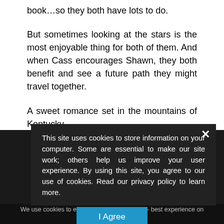book…so they both have lots to do.
But sometimes looking at the stars is the most enjoyable thing for both of them. And when Cass encourages Shawn, they both benefit and see a future path they might travel together.
A sweet romance set in the mountains of Kentucky.
REPLY
This site uses cookies to store information on your computer. Some are essential to make our site work; others help us improve your user experience. By using this site, you agree to our use of cookies. Read our privacy policy to learn more.
MAC HARRIS says
We use cookies to ensure you get the best experience on our website.
Privacy Preferences
I Agree